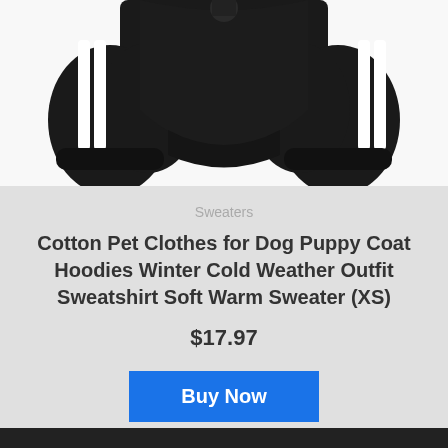[Figure (photo): Black dog tracksuit outfit with white stripes on the legs, photographed from below showing four pant legs with elastic cuffs]
Sweaters
Cotton Pet Clothes for Dog Puppy Coat Hoodies Winter Cold Weather Outfit Sweatshirt Soft Warm Sweater (XS)
$17.97
Buy Now